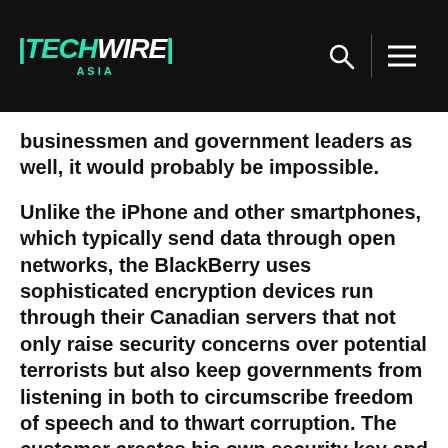TechWire Asia
businessmen and government leaders as well, it would probably be impossible.
Unlike the iPhone and other smartphones, which typically send data through open networks, the BlackBerry uses sophisticated encryption devices run through their Canadian servers that not only raise security concerns over potential terrorists but also keep governments from listening in both to circumscribe freedom of speech and to thwart corruption. The customer creates his own security key and there appears no way for eavesdroppers to break into the system. The Waterloo, Ontario-based Research in Motion, which manufacturers the devices, said it can't even read user transmissions